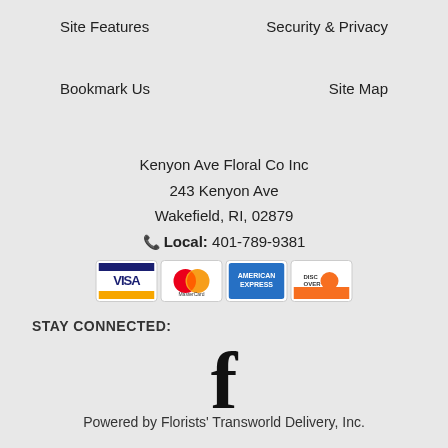Site Features
Security & Privacy
Bookmark Us
Site Map
Kenyon Ave Floral Co Inc
243 Kenyon Ave
Wakefield, RI, 02879
Local: 401-789-9381
[Figure (other): Payment card logos: Visa, MasterCard, American Express, Discover]
STAY CONNECTED:
[Figure (logo): Facebook logo icon (bold letter f)]
Powered by Florists' Transworld Delivery, Inc.